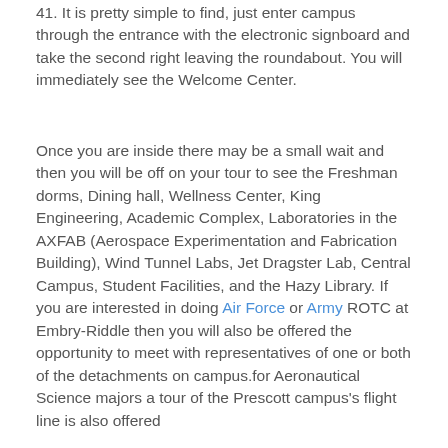41. It is pretty simple to find, just enter campus through the entrance with the electronic signboard and take the second right leaving the roundabout. You will immediately see the Welcome Center.
Once you are inside there may be a small wait and then you will be off on your tour to see the Freshman dorms, Dining hall, Wellness Center, King Engineering, Academic Complex, Laboratories in the AXFAB (Aerospace Experimentation and Fabrication Building), Wind Tunnel Labs, Jet Dragster Lab, Central Campus, Student Facilities, and the Hazy Library. If you are interested in doing Air Force or Army ROTC at Embry-Riddle then you will also be offered the opportunity to meet with representatives of one or both of the detachments on campus.for Aeronautical Science majors a tour of the Prescott campus's flight line is also offered